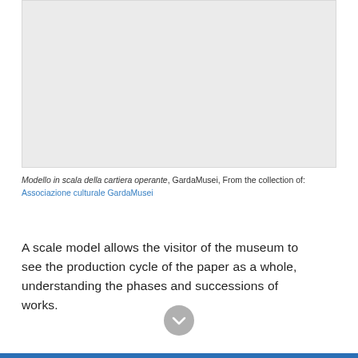[Figure (photo): Light gray placeholder rectangle representing a scale model image from GardaMusei collection]
Modello in scala della cartiera operante, GardaMusei, From the collection of: Associazione culturale GardaMusei
A scale model allows the visitor of the museum to see the production cycle of the paper as a whole, understanding the phases and successions of works.